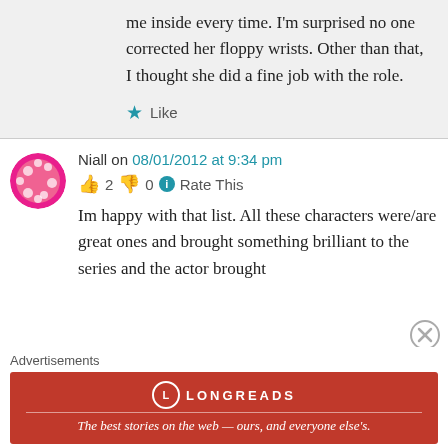me inside every time. I'm surprised no one corrected her floppy wrists. Other than that, I thought she did a fine job with the role.
Like
Niall on 08/01/2012 at 9:34 pm
2  0  Rate This
Im happy with that list. All these characters were/are great ones and brought something brilliant to the series and the actor brought
Advertisements
[Figure (other): Longreads advertisement banner in red: 'The best stories on the web — ours, and everyone else's.']